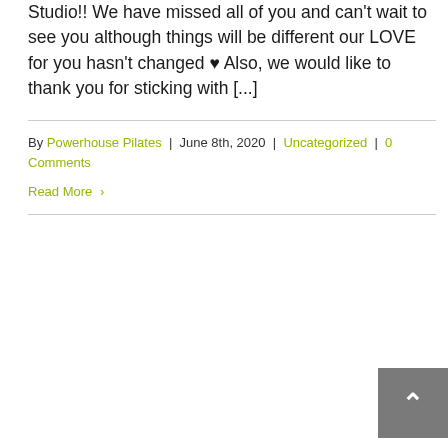Studio!! We have missed all of you and can't wait to see you although things will be different our LOVE for you hasn't changed ♥ Also, we would like to thank you for sticking with [...]
By Powerhouse Pilates | June 8th, 2020 | Uncategorized | 0 Comments
Read More >